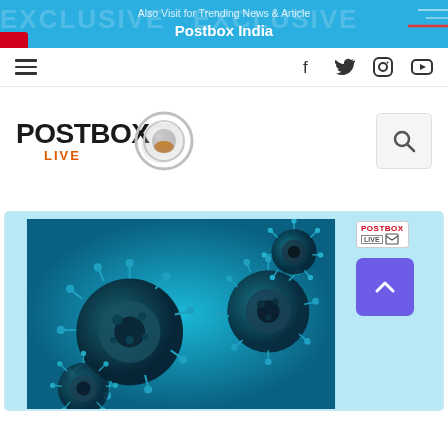Also Visit for Trending News & Article
Postbox India
[Figure (screenshot): Navigation bar with hamburger menu on left and social media icons (Facebook, Twitter, Instagram, YouTube) on right]
[Figure (logo): Postbox Live logo with circular metallic ring graphic and search icon on right]
[Figure (illustration): 3D rendered coronavirus/virus particles with spikes on teal/blue background, Postbox Live watermark in top right corner, purple scroll-to-top button on right side]